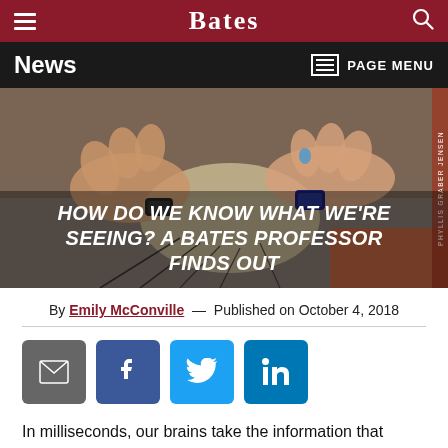Bates — News
[Figure (photo): Hands placing EEG electrode cap on a research subject, with wires visible, person wearing a smartwatch]
HOW DO WE KNOW WHAT WE'RE SEEING? A BATES PROFESSOR FINDS OUT
By Emily McConville — Published on October 4, 2018
[Figure (infographic): Social sharing buttons: email, Facebook, Twitter, LinkedIn]
In milliseconds, our brains take the information that meets our eyes and categorize it into everyday scenes like offices